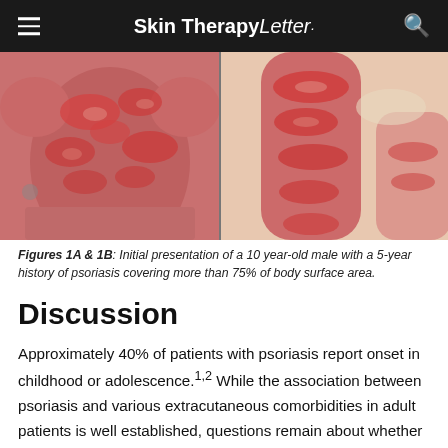Skin Therapy Letter
[Figure (photo): Two clinical photographs side by side showing a 10 year-old male with severe psoriasis. Left image shows torso/back with red, scaly plaques covering most of the surface. Right image shows an arm with red, inflamed skin lesions.]
Figures 1A & 1B: Initial presentation of a 10 year-old male with a 5-year history of psoriasis covering more than 75% of body surface area.
Discussion
Approximately 40% of patients with psoriasis report onset in childhood or adolescence.1,2 While the association between psoriasis and various extracutaneous comorbidities in adult patients is well established, questions remain about whether the same is true for pediatric patients. If the risk of comorbidities begins early in life, there is an opportunity for